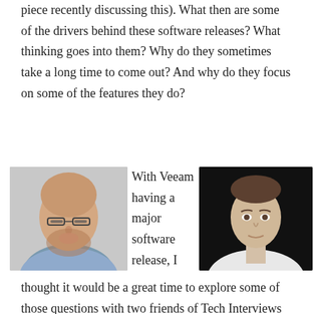piece recently discussing this). What then are some of the drivers behind these software releases? What thinking goes into them? Why do they sometimes take a long time to come out? And why do they focus on some of the features they do?
[Figure (photo): Headshot of a bald man with glasses and a beard, wearing a blue shirt, light grey background]
With Veeam having a major software release, I
[Figure (photo): Black and white headshot of a man in a white shirt, dark background]
thought it would be a great time to explore some of those questions with two friends of Tech Interviews